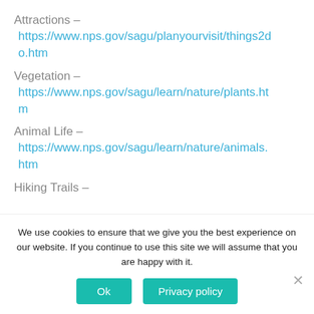Attractions –
https://www.nps.gov/sagu/planyourvisit/things2do.htm
Vegetation –
https://www.nps.gov/sagu/learn/nature/plants.htm
Animal Life –
https://www.nps.gov/sagu/learn/nature/animals.htm
Hiking Trails –
We use cookies to ensure that we give you the best experience on our website. If you continue to use this site we will assume that you are happy with it.